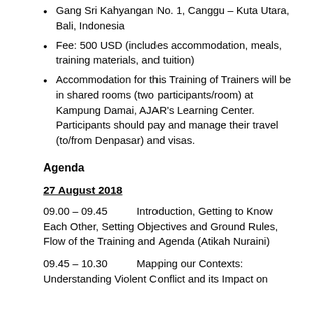Gang Sri Kahyangan No. 1, Canggu – Kuta Utara, Bali, Indonesia
Fee: 500 USD (includes accommodation, meals, training materials, and tuition)
Accommodation for this Training of Trainers will be in shared rooms (two participants/room) at Kampung Damai, AJAR's Learning Center. Participants should pay and manage their travel (to/from Denpasar) and visas.
Agenda
27 August 2018
09.00 – 09.45	Introduction, Getting to Know Each Other, Setting Objectives and Ground Rules, Flow of the Training and Agenda (Atikah Nuraini)
09.45 – 10.30	Mapping our Contexts: Understanding Violent Conflict and its Impact on